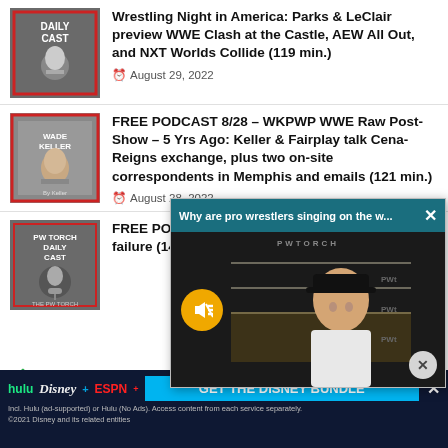Wrestling Night in America: Parks & LeClair preview WWE Clash at the Castle, AEW All Out, and NXT Worlds Collide (119 min.)
August 29, 2022
FREE PODCAST 8/28 – WKPWP WWE Raw Post-Show – 5 Yrs Ago: Keller & Fairplay talk Cena-Reigns exchange, plus two on-site correspondents in Memphis and emails (121 min.)
August 28, 2022
FREE POD... of PWTorc... Mayweath... fight analy... failure (14...
August 27, 2022
[Figure (screenshot): Video popup overlay: 'Why are pro wrestlers singing on the w...' with a muted video showing a man in a black cap in a wrestling ring setting, with PWTORCH watermark and close button]
FREE POD... Wrestling... ...good of Castle? Sami, Gunther-Sheamus, live callers (154 min.)
[Figure (screenshot): Advertisement banner: hulu Disney+ ESPN+ GET THE DISNEY BUNDLE. Incl. Hulu (ad-supported) or Hulu (No Ads). Access content from each service separately. ©2021 Disney and its related entities]